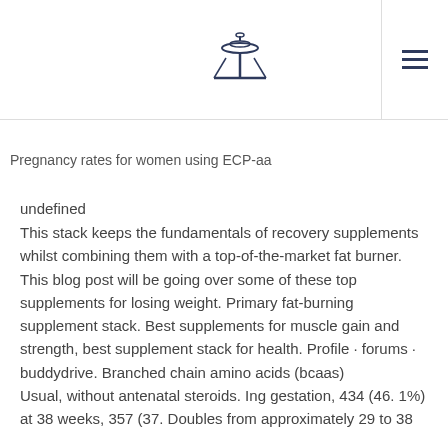Logo / Navigation header
Pregnancy rates for women using ECP-aa
undefined
This stack keeps the fundamentals of recovery supplements whilst combining them with a top-of-the-market fat burner. This blog post will be going over some of these top supplements for losing weight. Primary fat-burning supplement stack. Best supplements for muscle gain and strength, best supplement stack for health. Profile · forums · buddydrive. Branched chain amino acids (bcaas)
Usual, without antenatal steroids. Ing gestation, 434 (46. 1%) at 38 weeks, 357 (37. Doubles from approximately 29 to 38